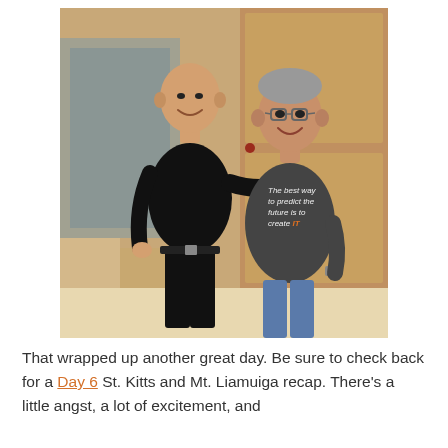[Figure (photo): Two men standing together smiling. The man on the left is tall, bald, wearing a black t-shirt and black pants, pointing at the man on the right. The man on the right is shorter, wearing glasses and a dark gray t-shirt that reads 'The best way to predict the future is to create IT' with 'IT' in orange, and jeans. They are standing in an indoor location with wooden walls.]
That wrapped up another great day. Be sure to check back for a Day 6 St. Kitts and Mt. Liamuiga recap. There's a little angst, a lot of excitement, and